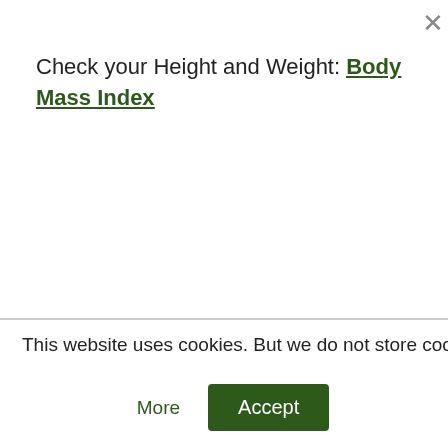Check your Height and Weight: Body Mass Index
This website uses cookies. But we do not store cookies. Read More
More
Accept